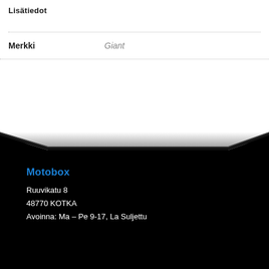Lisätiedot
|  |  |
| --- | --- |
| Merkki | Giant |
[Figure (illustration): Black wedge shape transitioning from white background to black footer area]
Motobox
Ruuvikatu 8
48770 KOTKA
Avoinna: Ma – Pe 9-17, La Suljettu